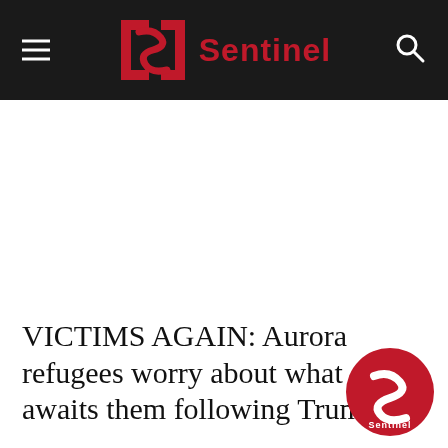Sentinel
VICTIMS AGAIN: Aurora refugees worry about what awaits them following Trump...